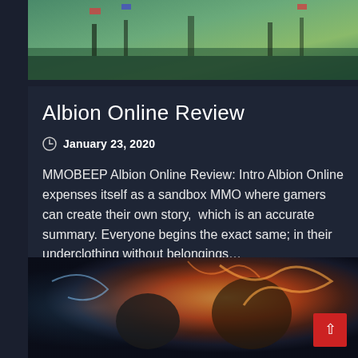[Figure (illustration): Fantasy battle scene showing warriors with flags in a green landscape, top of page]
Albion Online Review
January 23, 2020
MMOBEEP Albion Online Review: Intro Albion Online expenses itself as a sandbox MMO where gamers can create their own story,  which is an accurate summary. Everyone begins the exact same; in their underclothing without belongings…
[Figure (illustration): Fantasy combat scene showing two characters fighting, one with fire and wings, dramatic battle artwork]